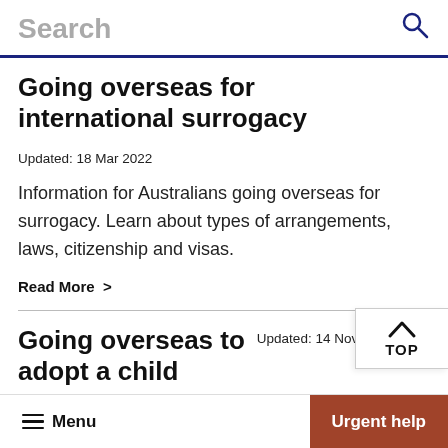Search
Going overseas for international surrogacy  Updated: 18 Mar 2022
Information for Australians going overseas for surrogacy. Learn about types of arrangements, laws, citizenship and visas.
Read More >
Going overseas to adopt a child  Updated: 14 Nov 2019
Menu  Urgent help